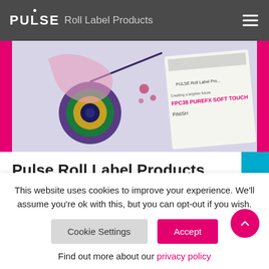PULSE Roll Label Products
[Figure (photo): Hero image showing Pulse Roll Label Products sample sheets with peacock feather design and FPC38 PUREFX SOFT TOUCH label visible]
Pulse Roll Label Products Launches Unique UV PureFX Soft Touch
Aug 17, 2021
This website uses cookies to improve your experience. We'll assume you're ok with this, but you can opt-out if you wish.
Find out more about our privacy policy